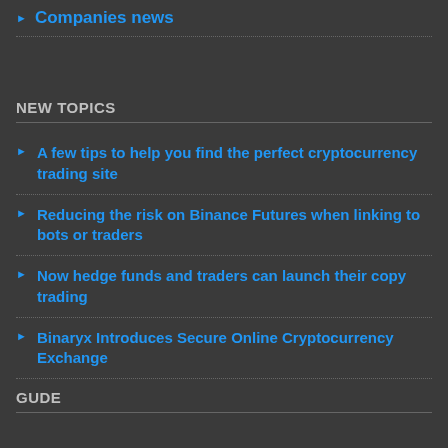Companies news
NEW TOPICS
A few tips to help you find the perfect cryptocurrency trading site
Reducing the risk on Binance Futures when linking to bots or traders
Now hedge funds and traders can launch their copy trading
Binaryx Introduces Secure Online Cryptocurrency Exchange
GUDE